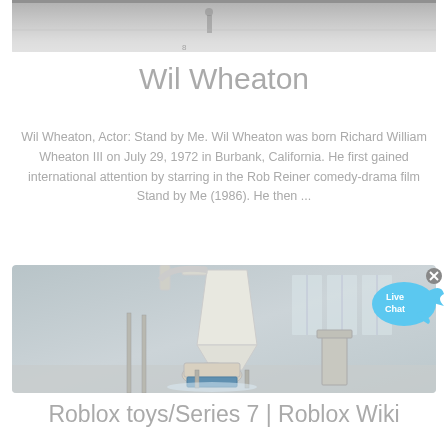[Figure (photo): Top portion of a black and white photograph, partially cropped at the top, showing an outdoor snowy scene with a person visible]
Wil Wheaton
Wil Wheaton, Actor: Stand by Me. Wil Wheaton was born Richard William Wheaton III on July 29, 1972 in Burbank, California. He first gained international attention by starring in the Rob Reiner comedy-drama film Stand by Me (1986). He then ...
[Figure (photo): Photograph of industrial milling or grinding machinery in a factory setting, showing a large white conical hopper/cyclone and associated milling equipment on a blue base]
Roblox toys/Series 7 | Roblox Wiki